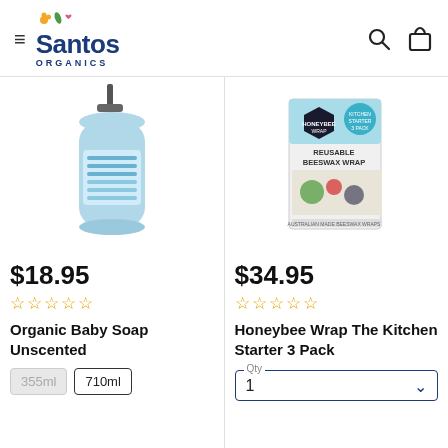Santos Organics
[Figure (photo): Dr. Bronner's Organic Baby Soap Unscented pump bottle in light blue]
$18.95
☆☆☆☆☆
Organic Baby Soap Unscented
355ml  710ml
[Figure (photo): Honeybee Wrap Reusable Beeswax Wrap - The Kitchen Starter 3 Pack product box]
$34.95
☆☆☆☆☆
Honeybee Wrap The Kitchen Starter 3 Pack
Qty 1